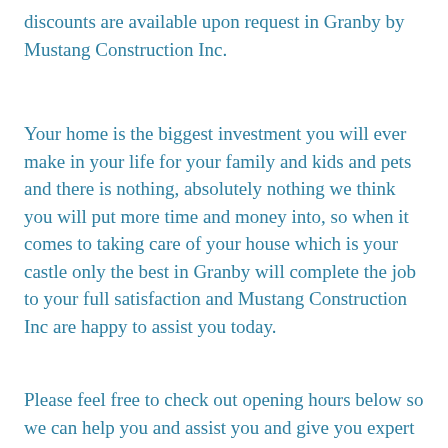discounts are available upon request in Granby by Mustang Construction Inc.
Your home is the biggest investment you will ever make in your life for your family and kids and pets and there is nothing, absolutely nothing we think you will put more time and money into, so when it comes to taking care of your house which is your castle only the best in Granby will complete the job to your full satisfaction and Mustang Construction Inc are happy to assist you today.
Please feel free to check out opening hours below so we can help you and assist you and give you expert licensed advice in no time because we are a trusted